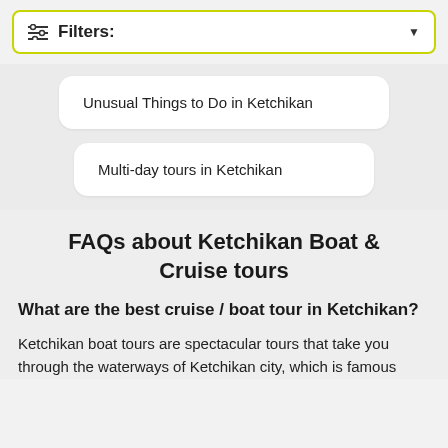Filters:
Unusual Things to Do in Ketchikan
Multi-day tours in Ketchikan
FAQs about Ketchikan Boat & Cruise tours
What are the best cruise / boat tour in Ketchikan?
Ketchikan boat tours are spectacular tours that take you through the waterways of Ketchikan city, which is famous for its abundant marine ecosystems. The wildlife...